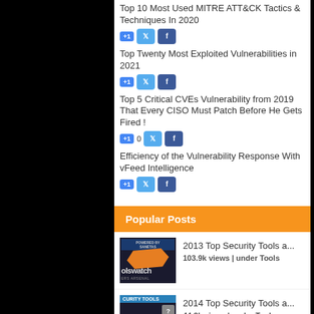Top 10 Most Used MITRE ATT&CK Tactics & Techniques In 2020
Top Twenty Most Exploited Vulnerabilities in 2021
Top 5 Critical CVEs Vulnerability from 2019 That Every CISO Must Patch Before He Gets Fired !
0
Efficiency of the Vulnerability Response With vFeed Intelligence
Popular Posts
2013 Top Security Tools a...
103.9k views | under Tools
2014 Top Security Tools a...
44.3k views | under Tools
Building my own PwnPad Co...